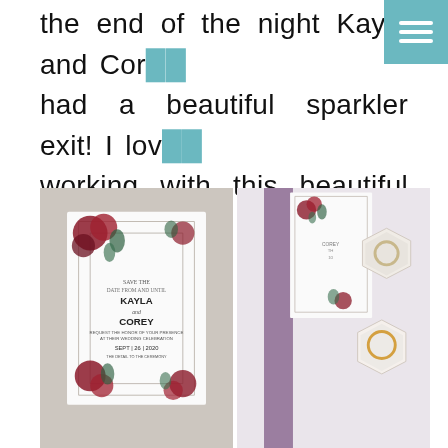the end of the night Kayla and Corey had a beautiful sparkler exit! I loved working with this beautiful couple and wish them the best in their future!
[Figure (photo): Two side-by-side photos: left shows a floral wedding invitation for Kayla and Corey dated Sept 26, 2020; right shows a floral programs booklet with two hexagonal ring boxes containing wedding rings on a white surface.]